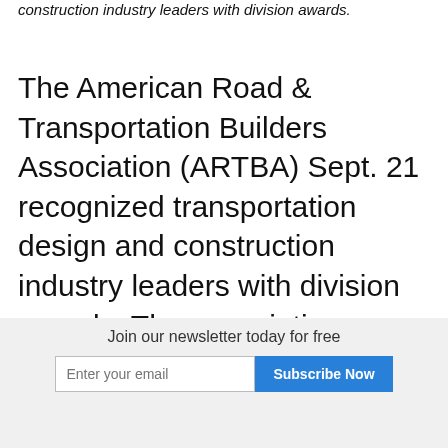construction industry leaders with division awards.
The American Road & Transportation Builders Association (ARTBA) Sept. 21 recognized transportation design and construction industry leaders with division awards. The association announced the following honorees:
Nello L. Teer, Jr.: Bob Burleson, president, Florida Transportation Builders' Association, Tallahassee, Fla.
Join our newsletter today for free
Created in 1988 as a tribute to contractor and past ARTBA chairman (1959-61) Nello L. Teer, Jr., this award